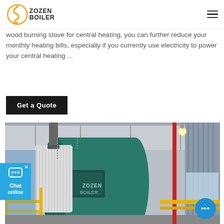ZOZEN BOILER
wood burning stove for central heating, you can further reduce your monthly heating bills, especially if you currently use electricity to power your central heating ...
Get a Quote
[Figure (photo): Industrial boiler (ZOZEN BOILER branded, teal/green cylindrical boiler) installed in a factory/warehouse, with yellow metal framework, pipes, and red vertical pipe visible. The boiler is a large horizontal cylindrical vessel.]